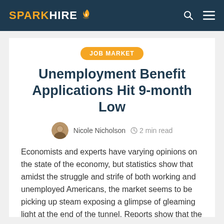SPARK HIRE
JOB MARKET
Unemployment Benefit Applications Hit 9-month Low
Nicole Nicholson   2 min read
Economists and experts have varying opinions on the state of the economy, but statistics show that amidst the struggle and strife of both working and unemployed Americans, the market seems to be picking up steam exposing a glimpse of gleaming light at the end of the tunnel. Reports show that the unemployment rate fell 0.4 percent in November to